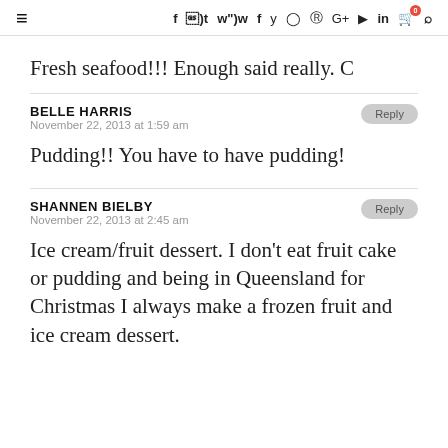≡ f y © © G+ ▶ in 🛒 0 🔍
Fresh seafood!!! Enough said really. C
BELLE HARRIS
November 22, 2013 at 1:59 am
Pudding!! You have to have pudding!
SHANNEN BIELBY
November 22, 2013 at 2:45 am
Ice cream/fruit dessert. I don't eat fruit cake or pudding and being in Queensland for Christmas I always make a frozen fruit and ice cream dessert.